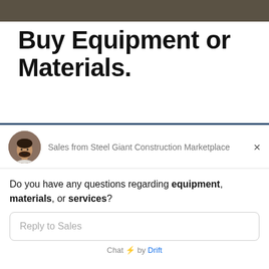[Figure (photo): Dark textured background image at top of page (partial crop)]
Buy Equipment or Materials.
Looking to buy? We carry just about every type of heavy equipment and material that you can think of. Don't have what you want? We're happy to utilize our list of 80,000+ contractors to find exactly what you need. Buy and Sell Used Heavy Equipment Fork Union, VA today.
[Figure (screenshot): Chat widget from Steel Giant Construction Marketplace sales rep. Contains: avatar photo of a man, 'Sales from Steel Giant Construction Marketplace' header with close button (×), chat message 'Do you have any questions regarding equipment, materials, or services?', reply input field 'Reply to Sales', and footer 'Chat ⚡ by Drift']